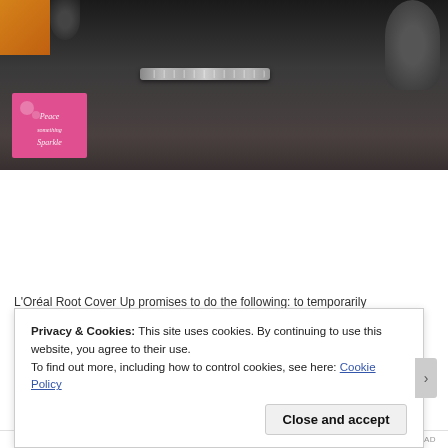[Figure (photo): A dark salon/vanity table surface with a rhinestone hair clip/barrette in the center, a pink product card (with script text and bubble decoration) in the lower-left corner, a round dark brush holder in the upper-right, and an orange/yellow styling tool on the upper-left.]
L'Oréal Root Cover Up promises to do the following: to temporarily
Privacy & Cookies: This site uses cookies. By continuing to use this website, you agree to their use.
To find out more, including how to control cookies, see here: Cookie Policy
Close and accept
REPORT THIS AD